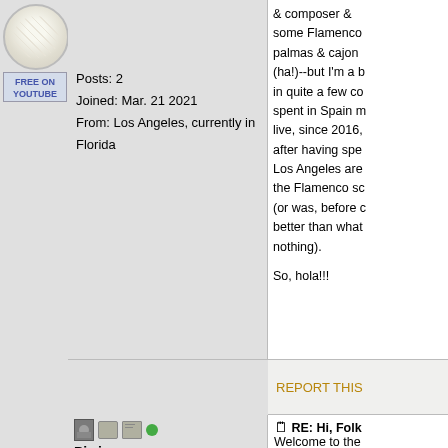[Figure (photo): Badminton shuttlecock image with FREE ON YOUTUBE text overlay]
Posts: 2
Joined: Mar. 21 2021
From: Los Angeles, currently in Florida
& composer & some Flamenco palmas & cajon (ha!)--but I'm a b in quite a few co spent in Spain m live, since 2016, after having spe Los Angeles are the Flamenco sc (or was, before c better than what nothing).

So, hola!!!
REPORT THIS
[Figure (illustration): Small person/user icon, message icon, edit icon, green dot]
Piwin
Fellow
[Figure (illustration): Zombie Smurfette illustration - a smurf character with wild hair and zombie-like appearance]
RE: Hi, Folk
Welcome to the

"Anything you c cannot fix is the What you canno whiteness of a s it—because ther